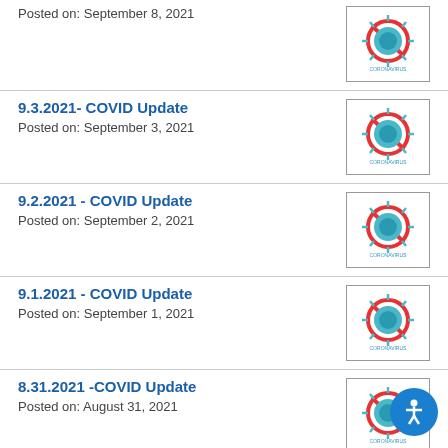Posted on: September 8, 2021
9.3.2021- COVID Update
Posted on: September 3, 2021
9.2.2021 - COVID Update
Posted on: September 2, 2021
9.1.2021 - COVID Update
Posted on: September 1, 2021
8.31.2021 -COVID Update
Posted on: August 31, 2021
8.31.21-COVID Update
Posted on: August 30, 2021